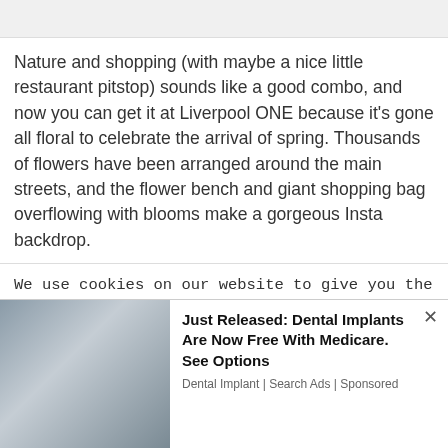[Figure (photo): Partial image visible at top of page, light gray placeholder]
Nature and shopping (with maybe a nice little restaurant pitstop) sounds like a good combo, and now you can get it at Liverpool ONE because it's gone all floral to celebrate the arrival of spring. Thousands of flowers have been arranged around the main streets, and the flower bench and giant shopping bag overflowing with blooms make a gorgeous Insta backdrop.
We use cookies on our website to give you the most relevant experience by remembering your preferences and repeat visits. By clicking “Accept All”, you consent to the use of ALL the cookies. However, you may visit "Cookie Settings" to provide a controlled consent.
[Figure (photo): Advertisement image showing a woman standing outdoors near a tree]
Just Released: Dental Implants Are Now Free With Medicare. See Options
Dental Implant | Search Ads | Sponsored